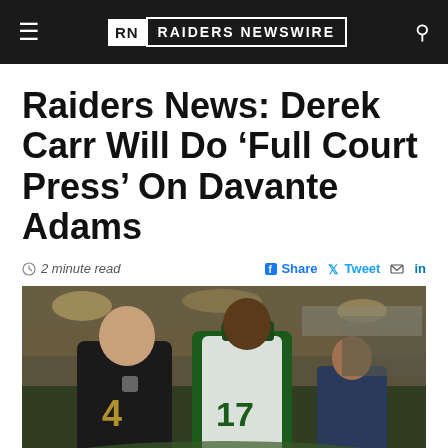RN RAIDERS NEWSWIRE
Raiders News: Derek Carr Will Do 'Full Court Press' On Davante Adams
2 minute read   Share  Tweet  in
[Figure (photo): Derek Carr (#4, Oakland Raiders) and Davante Adams (#17, Green Bay Packers) posing together on the football field after a game, stadium visible in background with lights and crowd.]